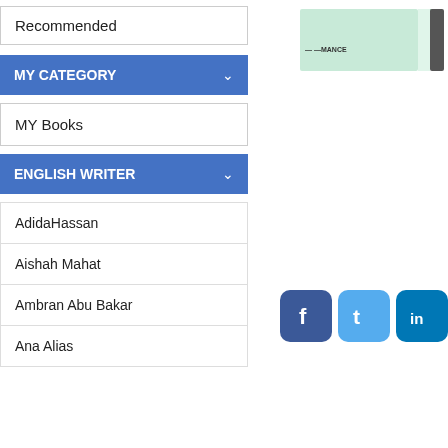Recommended
[Figure (illustration): Book cover image with mint green and dark grey colors, partially visible text]
MY CATEGORY
MY Books
ENGLISH WRITER
AdidaHassan
Aishah Mahat
Ambran Abu Bakar
Ana Alias
[Figure (infographic): Social media icons: Facebook (blue f), Twitter (light blue t), LinkedIn (dark blue in)]